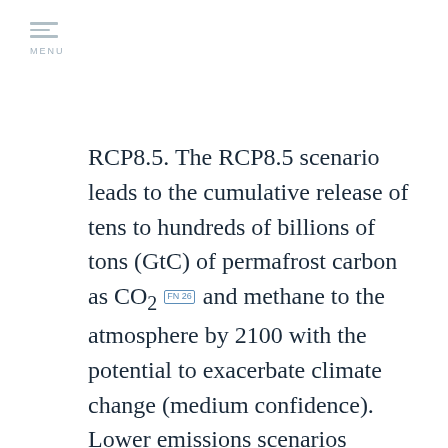MENU
RCP8.5. The RCP8.5 scenario leads to the cumulative release of tens to hundreds of billions of tons (GtC) of permafrost carbon as CO₂ FN26 and methane to the atmosphere by 2100 with the potential to exacerbate climate change (medium confidence). Lower emissions scenarios dampen the response of carbon emissions from the permafrost region (high confidence). Methane contributes a